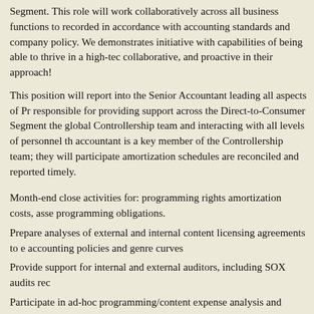Segment. This role will work collaboratively across all business functions to ensure transactions are recorded in accordance with accounting standards and company policy. We are looking for someone who demonstrates initiative with capabilities of being able to thrive in a high-tech environment and is collaborative, and proactive in their approach!
This position will report into the Senior Accountant leading all aspects of Programming, and will be responsible for providing support across the Direct-to-Consumer Segment. This role will work closely with the global Controllership team and interacting with all levels of personnel throughout the organization. The accountant is a key member of the Controllership team; they will participate in ensuring that all amortization schedules are reconciled and reported timely.
Month-end close activities for: programming rights amortization costs, asset impairments, and programming obligations.
Prepare analyses of external and internal content licensing agreements to ensure compliance with accounting policies and genre curves
Provide support for internal and external auditors, including SOX audits rec
Participate in ad-hoc programming/content expense analysis and accountin
Assist with the testing of system implementations and migrations
Participate in automation initiatives to streamline growing business and con
Assist with ERP implementation project
Basic Qualifications: